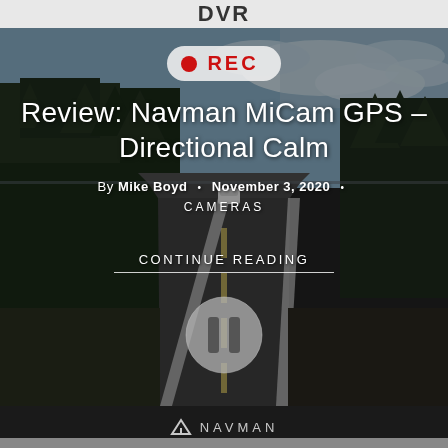DVR
[Figure (screenshot): Dashcam footage screenshot showing a road scene with trees on the left, a road stretching ahead with a white car visible in the distance, and cloudy sky. Overlaid with a REC indicator badge, article title, byline, category label, continue reading link, and a pause button. Bottom bar shows Navman branding.]
Review: Navman MiCam GPS – Directional Calm
By Mike Boyd • November 3, 2020 • CAMERAS
CONTINUE READING
NAVMAN